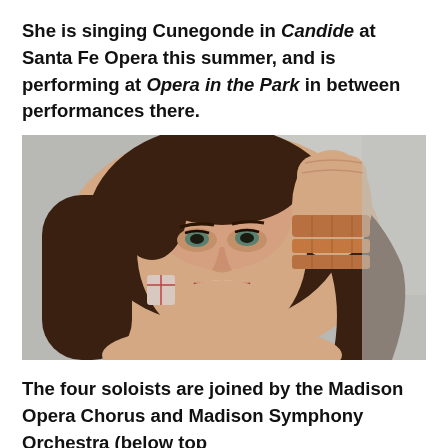She is singing Cunegonde in Candide at Santa Fe Opera this summer, and is performing at Opera in the Park in between performances there.
[Figure (photo): A smiling young woman with long brown hair, raising her fist, wearing a copper cuff bracelet and a square earring, posed against a grey background.]
The four soloists are joined by the Madison Opera Chorus and Madison Symphony Orchestra (below top